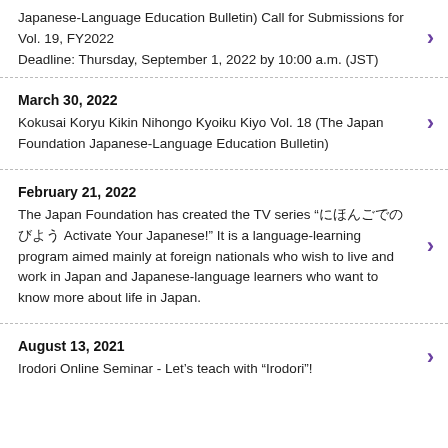Japanese-Language Education Bulletin) Call for Submissions for Vol. 19, FY2022
Deadline: Thursday, September 1, 2022 by 10:00 a.m. (JST)
March 30, 2022
Kokusai Koryu Kikin Nihongo Kyoiku Kiyo Vol. 18 (The Japan Foundation Japanese-Language Education Bulletin)
February 21, 2022
The Japan Foundation has created the TV series "にほんごでのびよう Activate Your Japanese!" It is a language-learning program aimed mainly at foreign nationals who wish to live and work in Japan and Japanese-language learners who want to know more about life in Japan.
August 13, 2021
Irodori Online Seminar - Let’s teach with “Irodori”!